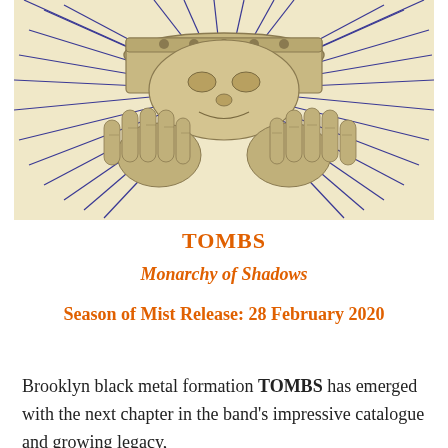[Figure (illustration): Illustration of skeletal or bony hands holding a crown-like object with radiating blue lines on a cream/beige background. Dark decorative engraving style artwork.]
TOMBS
Monarchy of Shadows
Season of Mist Release: 28 February 2020
Brooklyn black metal formation TOMBS has emerged with the next chapter in the band's impressive catalogue and growing legacy,